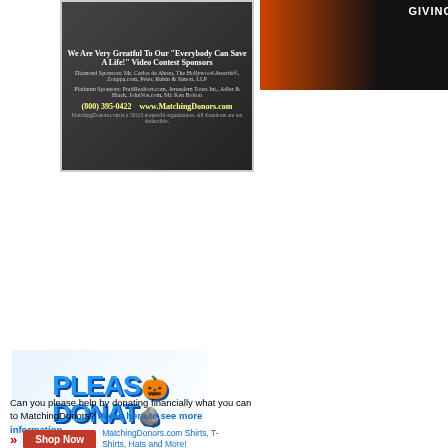[Figure (photo): MatchingDonors.com advertisement featuring people holding photos, sponsor list, phone number and website]
[Figure (photo): NBC Today Show logo and TV screenshot with orange giving graphic]
(NBC'S TODAY SHOW) See below a great SHOW and Natalie Morales. A patient received his transplant from MatchingDonors.com.
[Figure (photo): Woman in green dress on TV show set - Fox News segment]
[Figure (illustration): Please Donate logo with cartoon orange mascot character]
Can you please help by donating financially what you can to MatchingDonors? Press here to see more information.
» Shop Now   MatchingDonors.com Shirts, T-Shirts, Hats and More!
(Fox News) See below a great story that received his transplant from MatchingDonors.com.